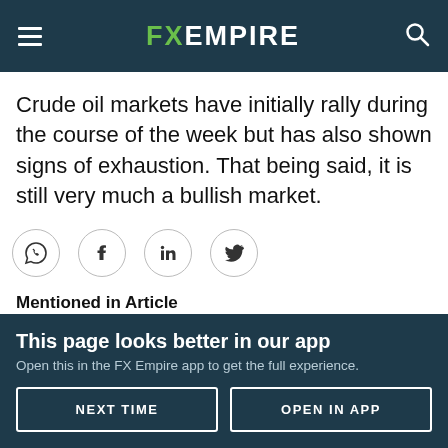FX EMPIRE
Crude oil markets have initially rally during the course of the week but has also shown signs of exhaustion. That being said, it is still very much a bullish market.
[Figure (infographic): Social sharing icons: WhatsApp, Facebook, LinkedIn, Twitter]
Mentioned in Article
WTI Oil -0.82%
This page looks better in our app
Open this in the FX Empire app to get the full experience.
NEXT TIME | OPEN IN APP